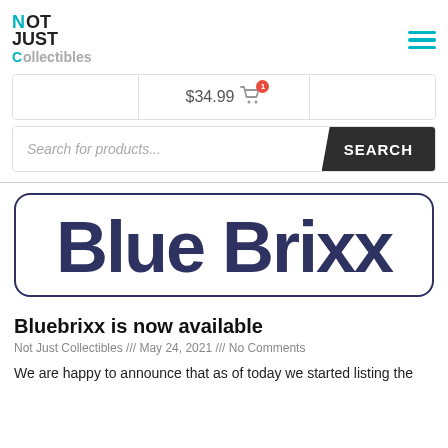[Figure (logo): Not Just Collectibles logo with teal/cyan colored letters]
[Figure (screenshot): Cart bar showing $34.99 with cart icon and badge showing 1 item]
[Figure (screenshot): Search bar with placeholder text 'Search for products...' and SEARCH button]
[Figure (logo): Blue Brixx logo - dark navy blue rounded bold text on white background with rounded rectangle border]
Bluebrixx is now available
Not Just Collectibles /// May 24, 2021 /// No Comments
We are happy to announce that as of today we started listing the